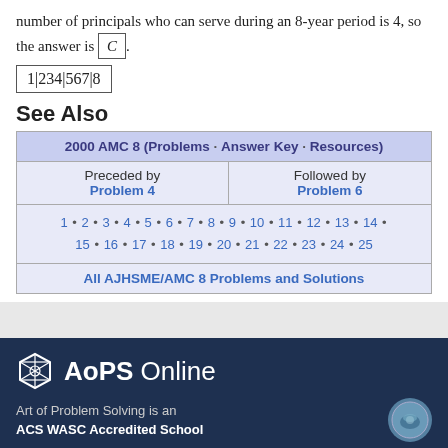number of principals who can serve during an 8-year period is 4, so the answer is C.
1|234|567|8
See Also
| 2000 AMC 8 (Problems · Answer Key · Resources) |
| --- |
| Preceded by
Problem 4 | Followed by
Problem 6 |
| 1 • 2 • 3 • 4 • 5 • 6 • 7 • 8 • 9 • 10 • 11 • 12 • 13 • 14 • 15 • 16 • 17 • 18 • 19 • 20 • 21 • 22 • 23 • 24 • 25 |
| All AJHSME/AMC 8 Problems and Solutions |
AoPS Online
Art of Problem Solving is an ACS WASC Accredited School